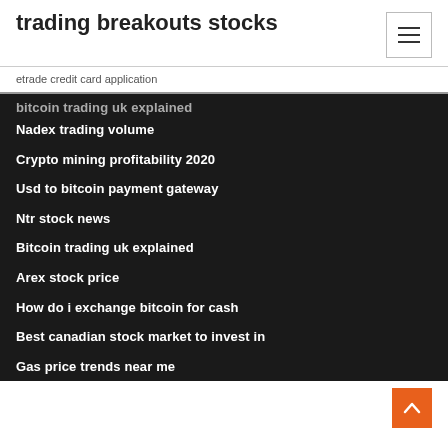trading breakouts stocks
etrade credit card application
bitcoin trading uk explained
Nadex trading volume
Crypto mining profitability 2020
Usd to bitcoin payment gateway
Ntr stock news
Bitcoin trading uk explained
Arex stock price
How do i exchange bitcoin for cash
Best canadian stock market to invest in
Gas price trends near me